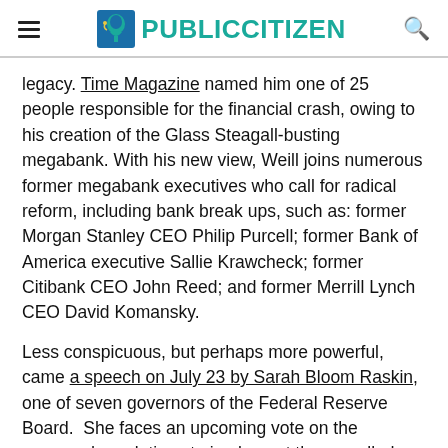PUBLIC CITIZEN
legacy. Time Magazine named him one of 25 people responsible for the financial crash, owing to his creation of the Glass Steagall-busting megabank. With his new view, Weill joins numerous former megabank executives who call for radical reform, including bank break ups, such as: former Morgan Stanley CEO Philip Purcell; former Bank of America executive Sallie Krawcheck; former Citibank CEO John Reed; and former Merrill Lynch CEO David Komansky.
Less conspicuous, but perhaps more powerful, came a speech on July 23 by Sarah Bloom Raskin, one of seven governors of the Federal Reserve Board.  She faces an upcoming vote on the proposed regulations to implement the so-called Volcker Rule, a provision in the Dodd-Frank Wall Street Reform Act that serves